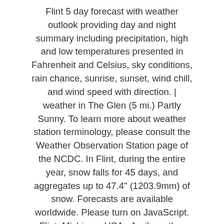Flint 5 day forecast with weather outlook providing day and night summary including precipitation, high and low temperatures presented in Fahrenheit and Celsius, sky conditions, rain chance, sunrise, sunset, wind chill, and wind speed with direction. | weather in The Glen (5 mi.) Partly Sunny. To learn more about weather station terminology, please consult the Weather Observation Station page of the NCDC. In Flint, during the entire year, snow falls for 45 days, and aggregates up to 47.4" (1203.9mm) of snow. Forecasts are available worldwide. Please turn on JavaScript. Flint, Michigan, USA - April weather averages including high and low temperatures, humidity, rainfall, snowfall, daylight, sunshine, UV index, and sea temperature. Overcast. The time period when the sun is between 6 and 12 degrees below the horizon at either sunrise or sunset. Not every station reports every day, and some stations never report certain values. Cloudy then Chance Snow. Thursday will be dull and mostly dry, winds will pick up into the evening and there will be some outbreaks of showery rain on Friday morning and blustery showers likely for much of the